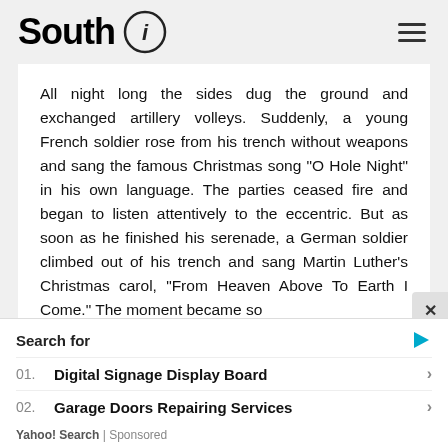South i
All night long the sides dug the ground and exchanged artillery volleys. Suddenly, a young French soldier rose from his trench without weapons and sang the famous Christmas song "O Hole Night" in his own language. The parties ceased fire and began to listen attentively to the eccentric. But as soon as he finished his serenade, a German soldier climbed out of his trench and sang Martin Luther's Christmas carol, "From Heaven Above To Earth I Come." The moment became so
Search for
01.  Digital Signage Display Board
02.  Garage Doors Repairing Services
Yahoo! Search | Sponsored